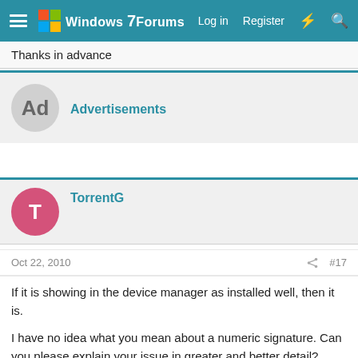Windows 7 Forums — Log in  Register
Thanks in advance
Advertisements
TorrentG
Oct 22, 2010  #17
If it is showing in the device manager as installed well, then it is.

I have no idea what you mean about a numeric signature. Can you please explain your issue in greater and better detail?

32 or 64 bit?